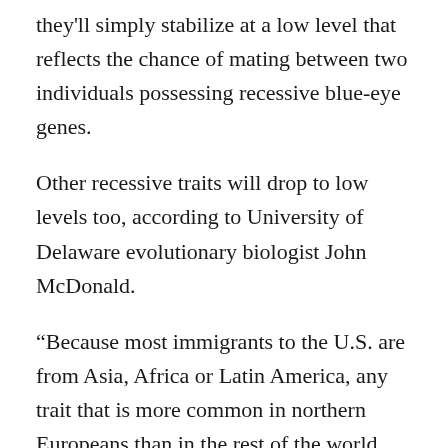they'll simply stabilize at a low level that reflects the chance of mating between two individuals possessing recessive blue-eye genes.
Other recessive traits will drop to low levels too, according to University of Delaware evolutionary biologist John McDonald.
“Because most immigrants to the U.S. are from Asia, Africa or Latin America, any trait that is more common in northern Europeans than in the rest of the world will get less common over the near future in the U.S. due to immigration,” McDonald wrote in an email.
“Examples would include red and blond hair, blue eyes, and freckles. Traits that are recessive and are more